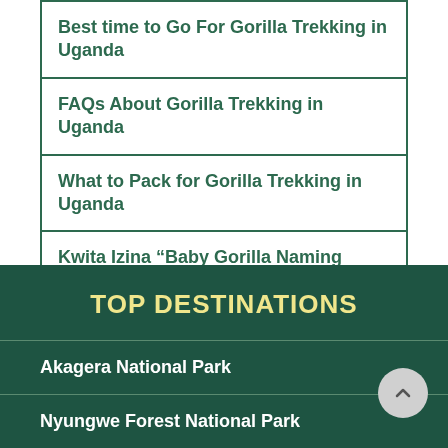Best time to Go For Gorilla Trekking in Uganda
FAQs About Gorilla Trekking in Uganda
What to Pack for Gorilla Trekking in Uganda
Kwita Izina “Baby Gorilla Naming Ceremony’
TOP DESTINATIONS
Akagera National Park
Nyungwe Forest National Park